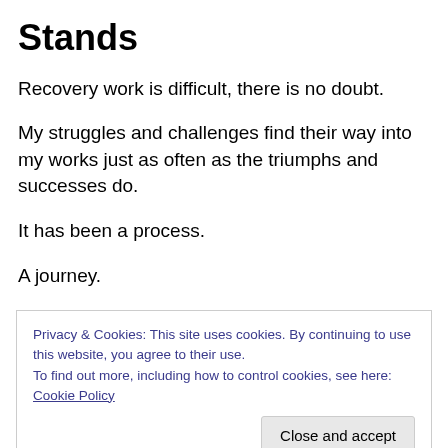Stands
Recovery work is difficult, there is no doubt.
My struggles and challenges find their way into my works just as often as the triumphs and successes do.
It has been a process.
A journey.
And I have shared it.
Privacy & Cookies: This site uses cookies. By continuing to use this website, you agree to their use.
To find out more, including how to control cookies, see here: Cookie Policy
I know they are.